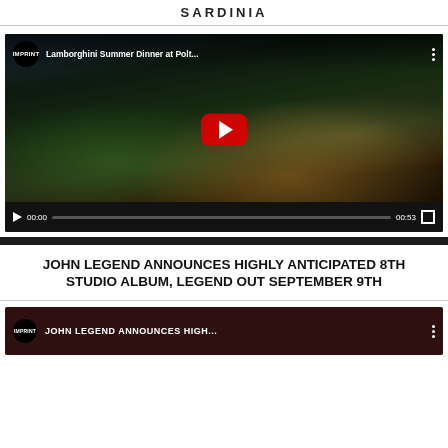SARDINIA
[Figure (screenshot): YouTube video player showing 'Lamborghini Summer Dinner at Polt...' with IMPRINT channel badge. Video shows a nighttime outdoor event with people, a green Lamborghini car, and buildings with warm lighting. Controls show 00:00 / 00:53.]
JOHN LEGEND ANNOUNCES HIGHLY ANTICIPATED 8TH STUDIO ALBUM, LEGEND OUT SEPTEMBER 9TH
[Figure (screenshot): Partial YouTube video thumbnail showing IMPRINT badge and text 'JOHN LEGEND ANNOUNCES HIGH...' on dark background.]